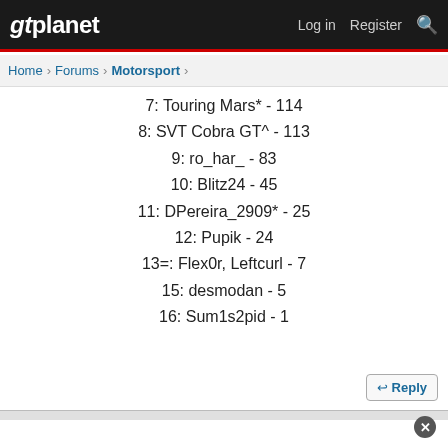gtplanet | Log in | Register
Home > Forums > Motorsport >
7: Touring Mars* - 114
8: SVT Cobra GT^ - 113
9: ro_har_ - 83
10: Blitz24 - 45
11: DPereira_2909* - 25
12: Pupik - 24
13=: Flex0r, Leftcurl - 7
15: desmodan - 5
16: Sum1s2pid - 1